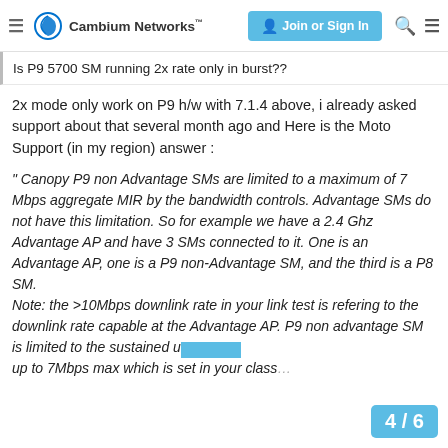Cambium Networks — Join or Sign In
Is P9 5700 SM running 2x rate only in burst??
2x mode only work on P9 h/w with 7.1.4 above, i already asked support about that several month ago and Here is the Moto Support (in my region) answer :
" Canopy P9 non Advantage SMs are limited to a maximum of 7 Mbps aggregate MIR by the bandwidth controls. Advantage SMs do not have this limitation. So for example we have a 2.4 Ghz Advantage AP and have 3 SMs connected to it. One is an Advantage AP, one is a P9 non-Advantage SM, and the third is a P8 SM.
Note: the >10Mbps downlink rate in your link test is refering to the downlink rate capable at the Advantage AP. P9 non advantage SM is limited to the sustained u... up to 7Mbps max which is set in your class...
4 / 6